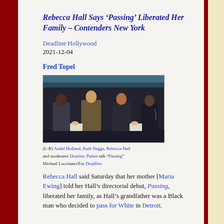Rebecca Hall Says ‘Passing’ Liberated Her Family – Contenders New York
Deadline Hollywood
2021-12-04
Fred Topel
[Figure (photo): Panel discussion photo showing four people seated on stage chairs. Caption: (L-R) André Holland, Ruth Negga, Rebecca Hall and moderator Dominic Patten talk “Passing”. Michael Loccisano/For Deadline]
(L-R) André Holland, Ruth Negga, Rebecca Hall and moderator Dominic Patten talk “Passing”
Michael Loccisano/For Deadline
Rebecca Hall said Saturday that her mother [Maria Ewing] told her Hall’s directorial debut, Passing, liberated her family, as Hall’s grandfather was a Black man who decided to pass for White in Detroit.